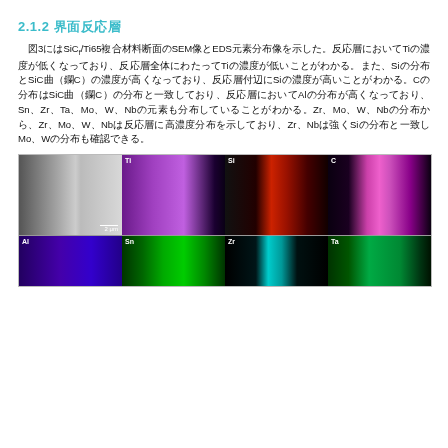2.1.2 界面反応層
図3にはSiCf/Ti65複合材料断面のSEM像とEDS元素分布像を示した。反応層においてTiの濃度が低くなっており、SiとSiCff（βC）の濃度が高くなっていることがわかる。Siの分布とCの分布はSiCff（βC）の反応層においてAlの分布はSnとZrとTaとMoとWとNbが濃縮されていることがわかる。ZrとMoとWとNbの分布にはZrとNbがSiに濃縮してMoとWが含有している。
[Figure (photo): SEM and EDS elemental mapping images of SiCf/Ti65 composite cross-section showing Ti, Si, C (top row: SEM, Ti, Si, C maps) and Al, Sn, Zr, Ta maps (bottom row) in false color.]